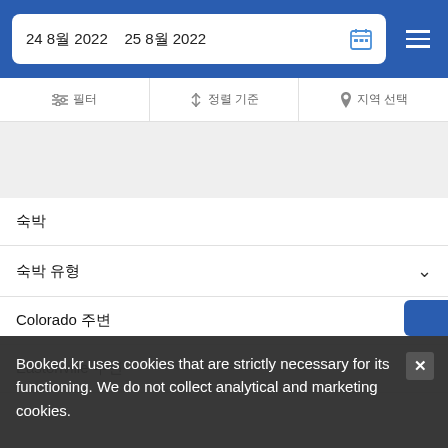24 8월 2022  25 8월 2022
필터  정렬 기준  지역 선택
숙박
숙박 유형
Colorado 주변
Eastonville 주변
Booked.kr uses cookies that are strictly necessary for its functioning. We do not collect analytical and marketing cookies.